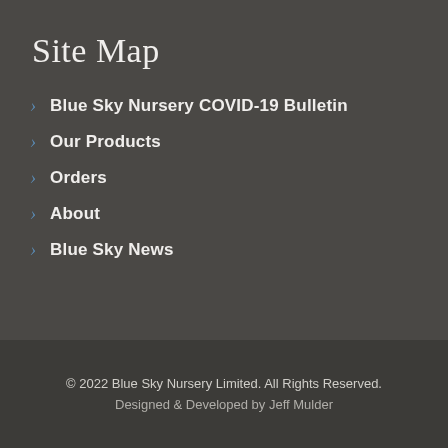Site Map
Blue Sky Nursery COVID-19 Bulletin
Our Products
Orders
About
Blue Sky News
© 2022 Blue Sky Nursery Limited. All Rights Reserved. Designed & Developed by Jeff Mulder